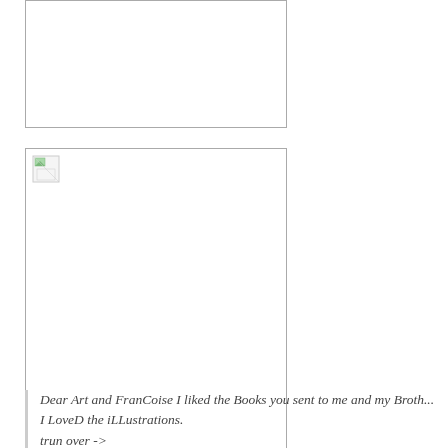[Figure (photo): Top image placeholder box (image not loaded)]
[Figure (photo): Large main image placeholder box (image not loaded), with broken image icon visible in top-left corner]
Dear Art and FranCoise I liked the Books you sent to me and my Broth... I LoveD the iLLustrations. trun over ->